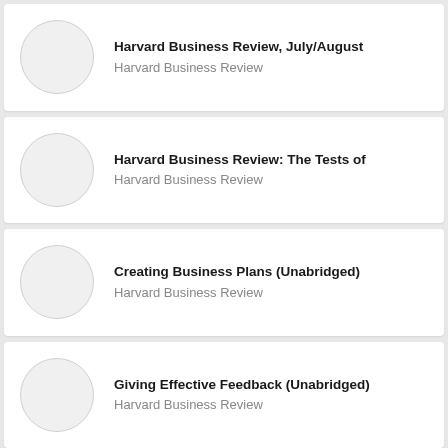Harvard Business Review, July/August — Harvard Business Review
Harvard Business Review: The Tests of — Harvard Business Review
Creating Business Plans (Unabridged) — Harvard Business Review
Giving Effective Feedback (Unabridged) — Harvard Business Review